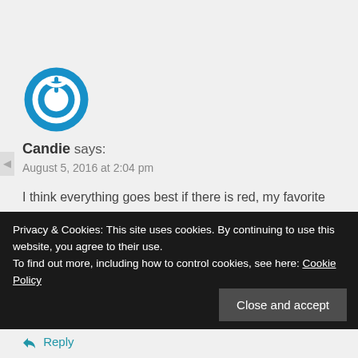[Figure (logo): Blue circular power button icon / avatar for user Candie]
Candie says:
August 5, 2016 at 2:04 pm
I think everything goes best if there is red, my favorite color. As far as my favorite color combo, I have always been drawn to rainbow spectrums. That is why I fell in love with your modern Hex
Privacy & Cookies: This site uses cookies. By continuing to use this website, you agree to their use.
To find out more, including how to control cookies, see here: Cookie Policy
Close and accept
Reply